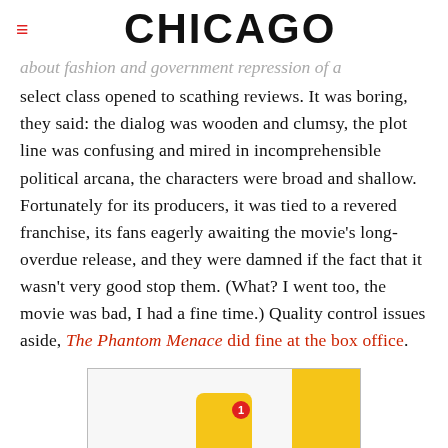CHICAGO
about fashion and government repression of a select class opened to scathing reviews. It was boring, they said: the dialog was wooden and clumsy, the plot line was confusing and mired in incomprehensible political arcana, the characters were broad and shallow. Fortunately for its producers, it was tied to a revered franchise, its fans eagerly awaiting the movie's long-overdue release, and they were damned if the fact that it wasn't very good stop them. (What? I went too, the movie was bad, I had a fine time.) Quality control issues aside, The Phantom Menace did fine at the box office.
[Figure (other): Advertisement banner with yellow icon and red notification badge]